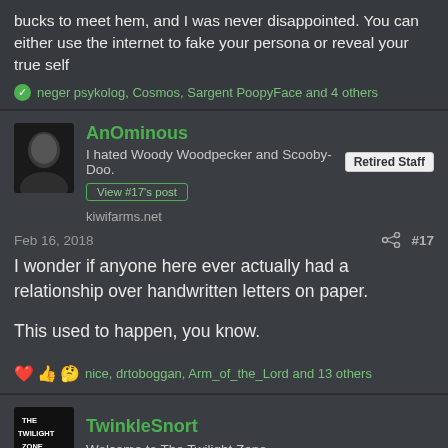bucks to meet hem, and I was never disappointed. You can either use the internet to fake your persona or reveal your true self
neger psykolog, Cosmos, Sargent PoopyFace and 4 others
AnOminous
I hated Woody Woodpecker and Scooby-Doo.
Retired Staff
kiwifarms.net
Feb 16, 2018
#17
I wonder if anyone here ever actually had a relationship over handwritten letters on paper.

This used to happen, you know.
nice, drtoboggan, Arm_of_the_Lord and 13 others
TwinkleSnort
Welcome to The Twilight Zone.